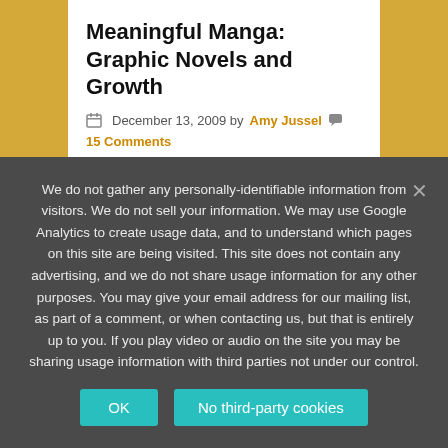Meaningful Manga: Graphic Novels and Growth
December 13, 2009 by Amy Jussel  15 Comments
Update: May 21, 2014 Our friends at Reach and Teach have added another clever manga style illustrated book called "A is for Action" which merits an update! I love the seeding of social change in a fun … [Read more...]
We do not gather any personally-identifiable information from visitors. We do not sell your information. We may use Google Analytics to create usage data, and to understand which pages on this site are being visited. This site does not contain any advertising, and we do not share usage information for any other purposes. You may give your email address for our mailing list, as part of a comment, or when contacting us, but that is entirely up to you. If you play video or audio on the site you may be sharing usage information with third parties not under our control.